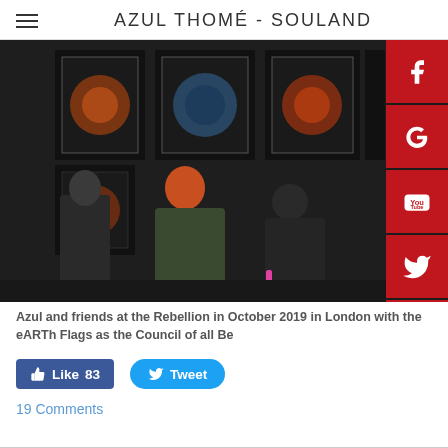AZUL THOMÉ - SOULAND
[Figure (photo): Group of people at the Extinction Rebellion protest in October 2019 in London, carrying large dark-mounted prints of circular art pieces (eARTh Flags). A woman in an orange headscarf and dark green coat stands centrally. Social media buttons (Facebook, Google+, YouTube, Twitter, Instagram) overlay the right side.]
Azul and friends at the Rebellion in October 2019 in London with the eARTh Flags as the Council of all Be
Like 83   Tweet
19 Comments